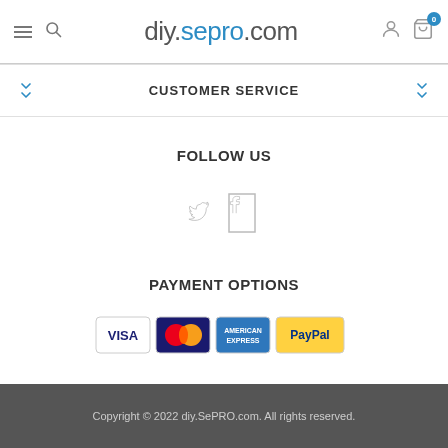diy.sepro.com
CUSTOMER SERVICE
FOLLOW US
[Figure (illustration): Twitter and Facebook social media icons]
PAYMENT OPTIONS
[Figure (illustration): Payment option logos: VISA, Mastercard, American Express, PayPal]
Copyright © 2022 diy.SePRO.com. All rights reserved.